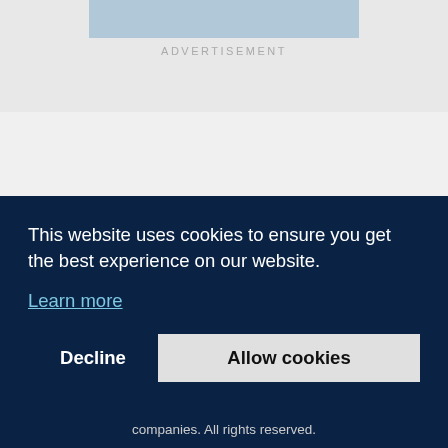[Figure (other): Advertisement placeholder banner with blue bar and ADVERTISEMENT label]
| USD/HUF | 403.935 | –0.093 (–0.02%) |
| BUX | 0.5673 D | –0.0021 (–0.37%) |
| EUR/HUF | 402.168 | +0.302 (+0.08%) |
| TV | 3.62 | +0.11 |
This website uses cookies to ensure you get the best experience on our website.
Learn more
Decline
Allow cookies
companies. All rights reserved.